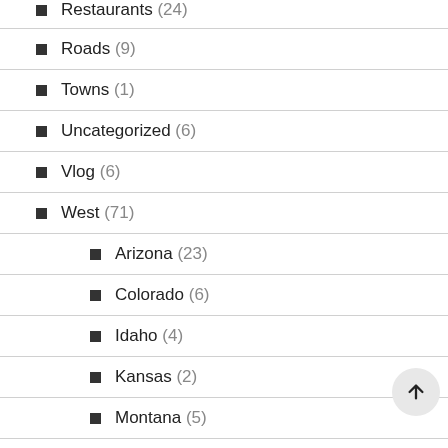Restaurants (24)
Roads (9)
Towns (1)
Uncategorized (6)
Vlog (6)
West (71)
Arizona (23)
Colorado (6)
Idaho (4)
Kansas (2)
Montana (5)
Nebraska (2)